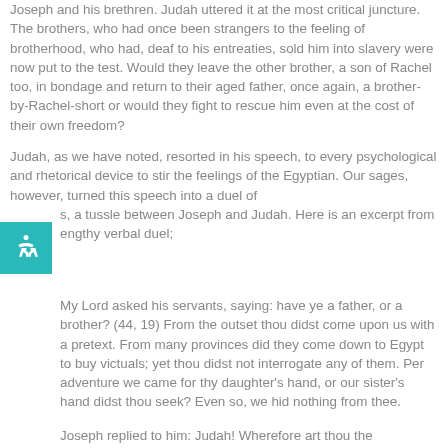Joseph and his brethren. Judah uttered it at the most critical juncture. The brothers, who had once been strangers to the feeling of brotherhood, who had, deaf to his entreaties, sold him into slavery were now put to the test. Would they leave the other brother, a son of Rachel too, in bondage and return to their aged father, once again, a brother-by-Rachel-short or would they fight to rescue him even at the cost of their own freedom?
Judah, as we have noted, resorted in his speech, to every psychological and rhetorical device to stir the feelings of the Egyptian. Our sages, however, turned this speech into a duel of souls, a tussle between Joseph and Judah. Here is an excerpt from the lengthy verbal duel;
My Lord asked his servants, saying: have ye a father, or a brother? (44, 19) From the outset thou didst come upon us with a pretext. From many provinces did they come down to Egypt to buy victuals; yet thou didst not interrogate any of them. Per adventure we came for thy daughter's hand, or our sister's hand didst thou seek? Even so, we hid nothing from thee.
Joseph replied to him: Judah! Wherefore art thou the spokesman of all your brethren, whereas I see in my divining goblet that thou has brothers older than thyself?